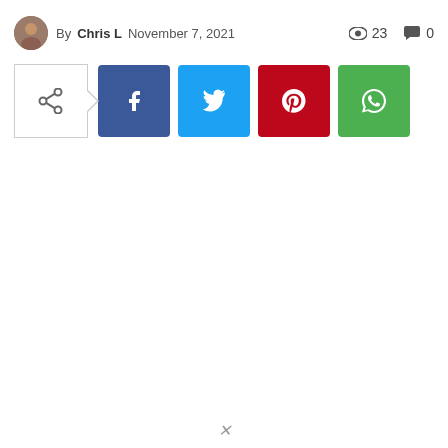By Chris L  November 7, 2021  👁 23  💬 0
[Figure (infographic): Social share bar with toggle button, Facebook, Twitter, Pinterest, and WhatsApp buttons]